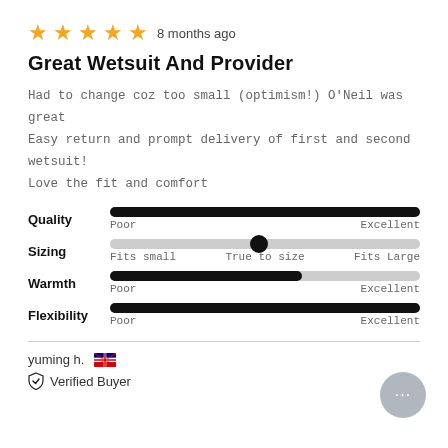[Figure (infographic): Five gold stars rating with '8 months ago' text]
Great Wetsuit And Provider
Had to change coz too small (optimism!) O'Neil was great
Easy return and prompt delivery of first and second wetsuit!
Love the fit and comfort
[Figure (infographic): Four rating sliders: Quality (full), Sizing (middle), Warmth (about 65%), Flexibility (full)]
yuming h. 🇦🇺
Verified Buyer